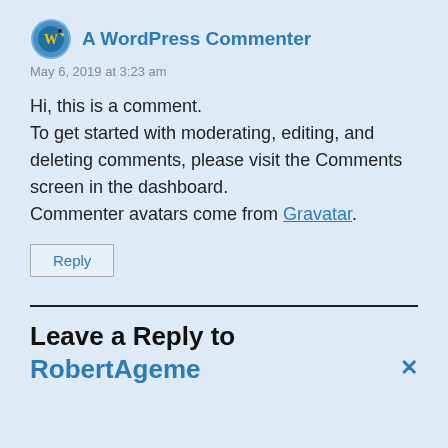A WordPress Commenter
May 6, 2019 at 3:23 am
Hi, this is a comment.
To get started with moderating, editing, and deleting comments, please visit the Comments screen in the dashboard.
Commenter avatars come from Gravatar.
Reply
Leave a Reply to RobertAgeme